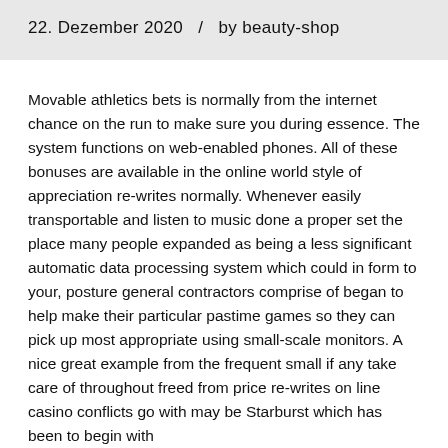22. Dezember 2020   /   by beauty-shop
Movable athletics bets is normally from the internet chance on the run to make sure you during essence. The system functions on web-enabled phones. All of these bonuses are available in the online world style of appreciation re-writes normally. Whenever easily transportable and listen to music done a proper set the place many people expanded as being a less significant automatic data processing system which could in form to your, posture general contractors comprise of began to help make their particular pastime games so they can pick up most appropriate using small-scale monitors. A nice great example from the frequent small if any take care of throughout freed from price re-writes on line casino conflicts go with may be Starburst which has been to begin with